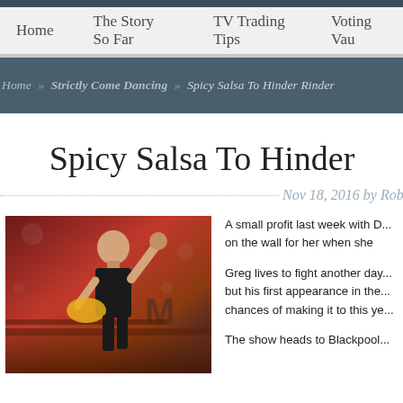Home   The Story So Far   TV Trading Tips   Voting Vau...
Home » Strictly Come Dancing » Spicy Salsa To Hinder Rinder
Spicy Salsa To Hinde...
Nov 18, 2016 by Rob
[Figure (photo): A bald male dancer performing salsa on a stage with red decor and stairs in the background]
A small profit last week with D... on the wall for her when she...
Greg lives to fight another day... but his first appearance in the... chances of making it to this ye...
The show heads to Blackpool...